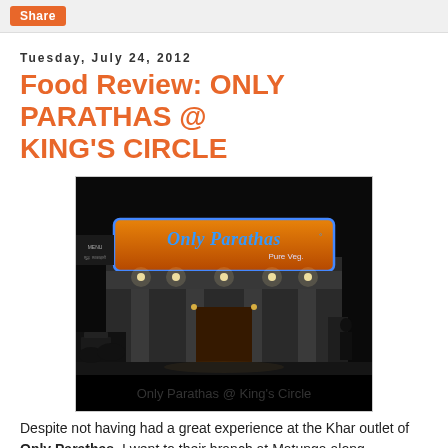Share
Tuesday, July 24, 2012
Food Review: ONLY PARATHAS @ KING'S CIRCLE
[Figure (photo): Night-time exterior photograph of Only Parathas restaurant at King's Circle, showing an illuminated orange signboard reading 'Only Parathas Pure Veg' in blue lettering, with lights along the entrance and columns.]
Only Parathas @ King's Circle
Despite not having had a great experience at the Khar outlet of Only Parathas, I went to their branch at Matunga along